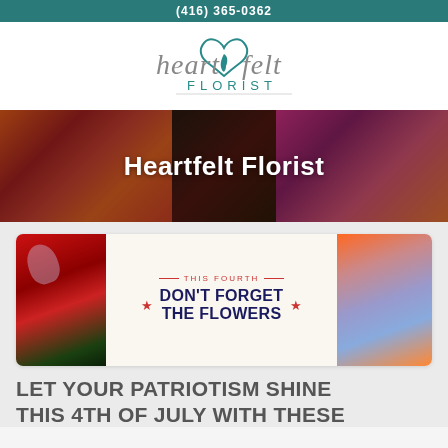(416) 365-0362
[Figure (logo): Heartfelt Florist logo with stylized cursive text and heart/leaf graphic above 'FLORIST' in small caps]
[Figure (photo): Hero banner with flower arrangement photos on left and right, dark semi-transparent overlay with white bold text 'Heartfelt Florist']
Heartfelt Florist
[Figure (infographic): Promotional card with flower photos on left and right sides, center white panel reads 'THIS FOURTH' with decorative lines, red stars, and bold navy text 'DON'T FORGET THE FLOWERS']
LET YOUR PATRIOTISM SHINE THIS 4TH OF JULY WITH THESE